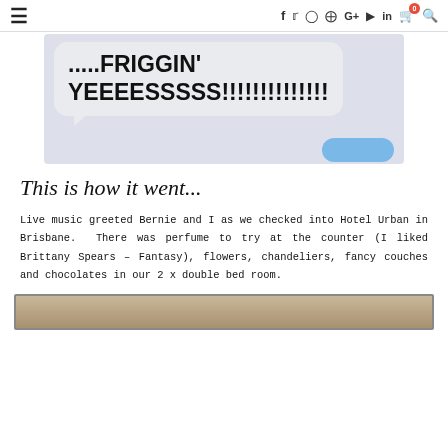≡  f  🐦  ⊙  ⊕  G+  ▶  in  🛒0  🔍
[Figure (screenshot): iPhone text message screenshot showing a speech bubble with the text '.....FRIGGIN' YEEEESSSSS!!!!!!!!!!!!!!' in bold large font, and a partial blue reply bubble below.]
This is how it went...
Live music greeted Bernie and I as we checked into Hotel Urban in Brisbane.  There was perfume to try at the counter (I liked Brittany Spears – Fantasy), flowers, chandeliers, fancy couches and chocolates in our 2 x double bed room.
[Figure (photo): Bottom portion of a photo, partially visible at the bottom of the page.]